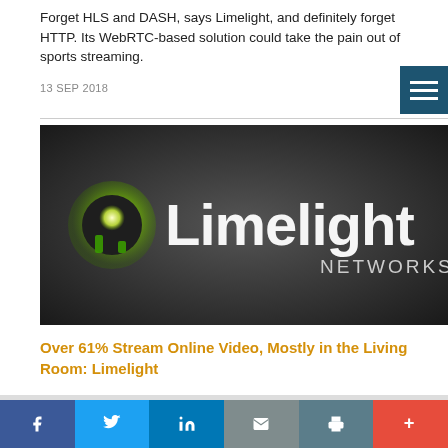Forget HLS and DASH, says Limelight, and definitely forget HTTP. Its WebRTC-based solution could take the pain out of sports streaming.
13 SEP 2018
[Figure (logo): Limelight Networks logo on dark gradient background]
Over 61% Stream Online Video, Mostly in the Living Room: Limelight
Social share bar with Facebook, Twitter, LinkedIn, Email, Print, More buttons